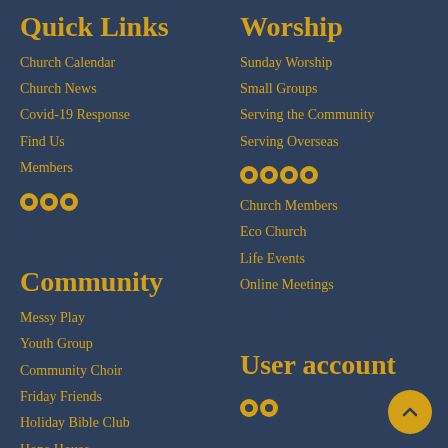Quick Links
Church Calendar
Church News
Covid-19 Response
Find Us
Members
❂❂❂
Worship
Sunday Worship
Small Groups
Serving the Community
Serving Overseas
❂❂❂❂
Church Members
Eco Church
Life Events
Online Meetings
Community
Messy Play
Youth Group
Community Choir
Friday Friends
Holiday Bible Club
Hope House
Local Schools
User account
❂❂